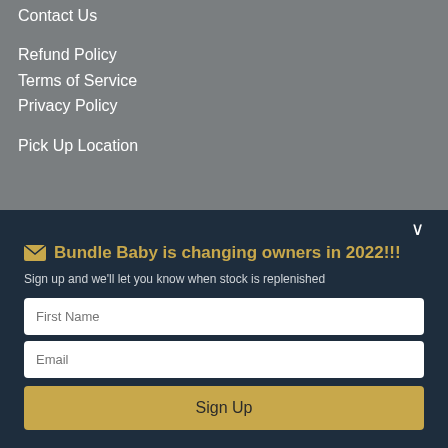Contact Us
Refund Policy
Terms of Service
Privacy Policy
Pick Up Location
📧 Bundle Baby is changing owners in 2022!!!
Sign up and we'll let you know when stock is replenished
First Name
Email
Sign Up